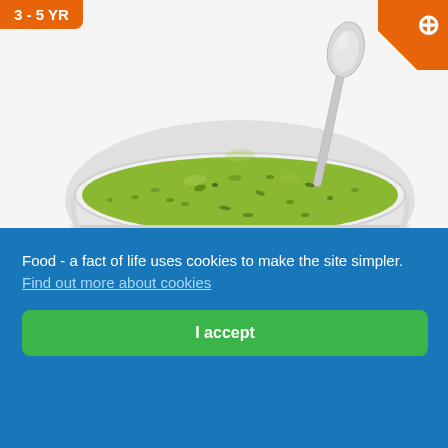[Figure (photo): Bowl of green soup (green green soup) with a silver spoon on a white background. Orange age badge '3-5 YR' in top left, orange corner with plus icon top right.]
Green green soup take home letter
soup session.
Download ↓
Food - a fact of life uses cookies to make the site simpler. Find out more about cookies
I accept